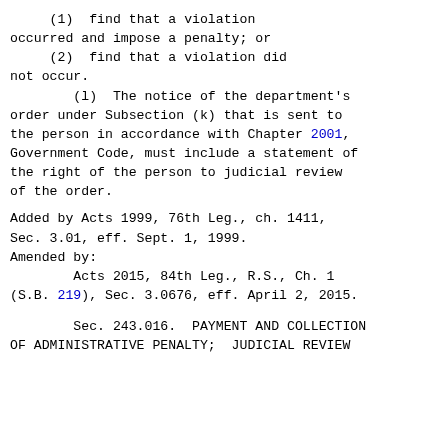(1)  find that a violation occurred and impose a penalty; or
(2)  find that a violation did not occur.
(l)  The notice of the department's order under Subsection (k) that is sent to the person in accordance with Chapter 2001, Government Code, must include a statement of the right of the person to judicial review of the order.
Added by Acts 1999, 76th Leg., ch. 1411, Sec. 3.01, eff. Sept. 1, 1999.
Amended by:
        Acts 2015, 84th Leg., R.S., Ch. 1 (S.B. 219), Sec. 3.0676, eff. April 2, 2015.
Sec. 243.016.  PAYMENT AND COLLECTION OF ADMINISTRATIVE PENALTY;  JUDICIAL REVIEW